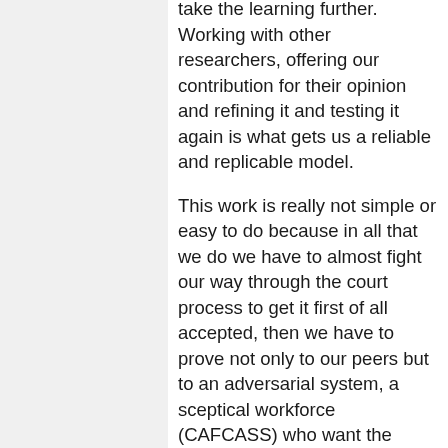take the learning further. Working with other researchers, offering our contribution for their opinion and refining it and testing it again is what gets us a reliable and replicable model.
This work is really not simple or easy to do because in all that we do we have to almost fight our way through the court process to get it first of all accepted, then we have to prove not only to our peers but to an adversarial system, a sceptical workforce (CAFCASS) who want the